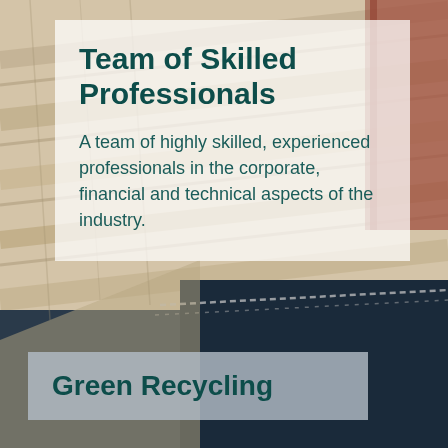[Figure (photo): Aerial/overhead view of what appears to be a industrial or recycling facility with materials including wood, metal and dark containers visible from above]
Team of Skilled Professionals
A team of highly skilled, experienced professionals in the corporate, financial and technical aspects of the industry.
Green Recycling